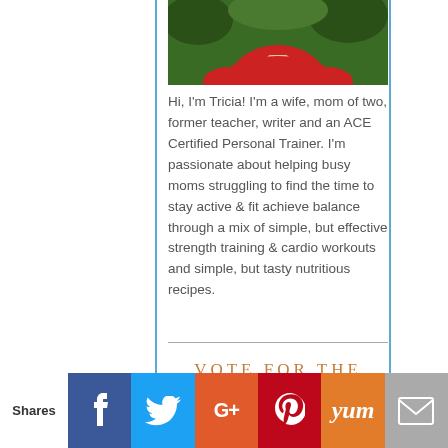[Figure (photo): Photo of Tricia wearing a red shirt, cropped at the torso, with green foliage in the background]
Hi, I'm Tricia! I'm a wife, mom of two, former teacher, writer and an ACE Certified Personal Trainer. I'm passionate about helping busy moms struggling to find the time to stay active & fit achieve balance through a mix of simple, but effective strength training & cardio workouts and simple, but tasty nutritious recipes.
VOTE FOR THE
Shares | Facebook | Twitter | Google+ | Pinterest | Yum | Email